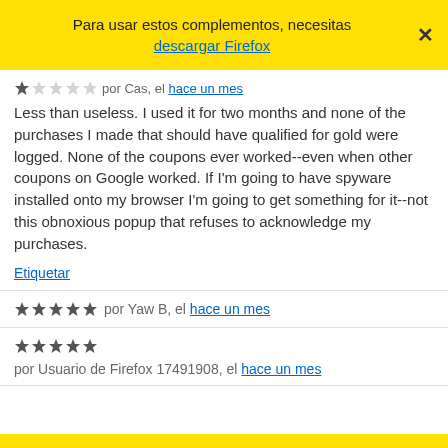Para usar estos complementos, necesitas descargar Firefox
por Cas, el hace un mes
Less than useless. I used it for two months and none of the purchases I made that should have qualified for gold were logged. None of the coupons ever worked--even when other coupons on Google worked. If I'm going to have spyware installed onto my browser I'm going to get something for it--not this obnoxious popup that refuses to acknowledge my purchases.
Etiquetar
por Yaw B, el hace un mes
por Usuario de Firefox 17491908, el hace un mes